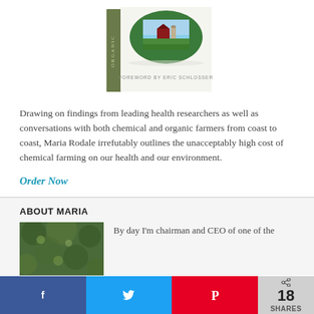[Figure (photo): Book cover with farm scene and text 'Foreword by Eric Schlosser']
Drawing on findings from leading health researchers as well as conversations with both chemical and organic farmers from coast to coast, Maria Rodale irrefutably outlines the unacceptably high cost of chemical farming on our health and our environment.
Order Now
ABOUT MARIA
[Figure (photo): Photo of Maria, outdoors with green foliage background]
By day I'm chairman and CEO of one of the
f  18 SHARES  (social share bar: Facebook, Twitter, Pinterest, Shares count)